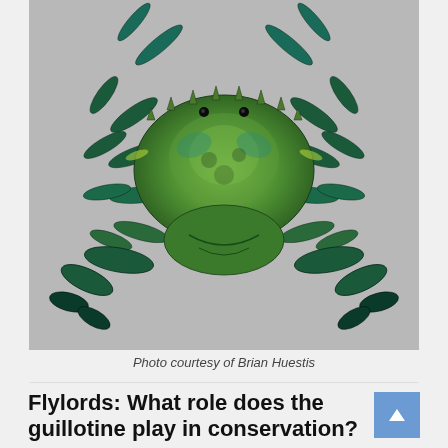[Figure (photo): Color photograph of a blue crab (Callinectes sapidus) with green and teal coloring, displayed flat on a light gray background. The crab is viewed from above showing its shell, claws, and legs.]
Photo courtesy of Brian Huestis
Flylords: What role does the guillotine play in conservation?
Brian: Having a dead fish to make an original print at first